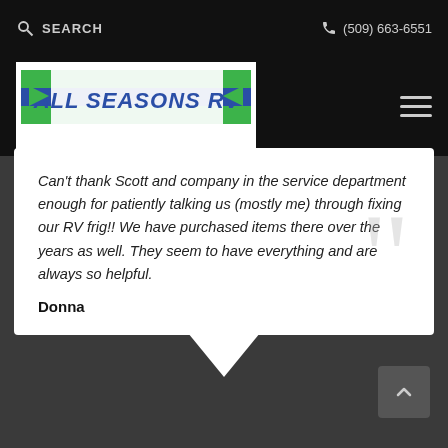SEARCH  (509) 663-6551
[Figure (logo): All Seasons RV logo with blue and green stripes on white background]
Can't thank Scott and company in the service department enough for patiently talking us (mostly me) through fixing our RV frig!! We have purchased items there over the years as well. They seem to have everything and are always so helpful.
Donna